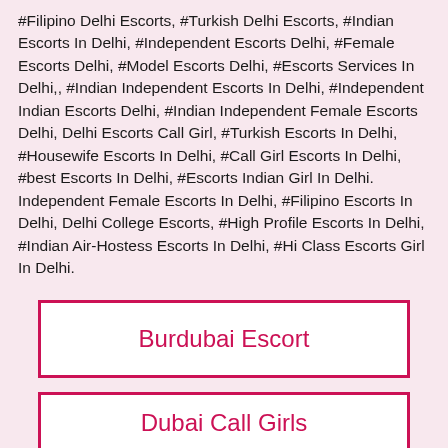#Filipino Delhi Escorts, #Turkish Delhi Escorts, #Indian Escorts In Delhi, #Independent Escorts Delhi, #Female Escorts Delhi, #Model Escorts Delhi, #Escorts Services In Delhi,, #Indian Independent Escorts In Delhi, #Independent Indian Escorts Delhi, #Indian Independent Female Escorts Delhi, Delhi Escorts Call Girl, #Turkish Escorts In Delhi, #Housewife Escorts In Delhi, #Call Girl Escorts In Delhi, #best Escorts In Delhi, #Escorts Indian Girl In Delhi. Independent Female Escorts In Delhi, #Filipino Escorts In Delhi, Delhi College Escorts, #High Profile Escorts In Delhi, #Indian Air-Hostess Escorts In Delhi, #Hi Class Escorts Girl In Delhi.
Burdubai Escort
Dubai Call Girls